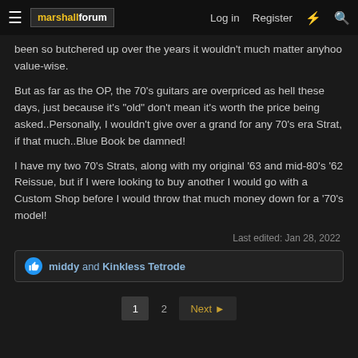marshall forum — Log in  Register
been so butchered up over the years it wouldn't much matter anyhoo value-wise.
But as far as the OP, the 70's guitars are overpriced as hell these days, just because it's "old" don't mean it's worth the price being asked..Personally, I wouldn't give over a grand for any 70's era Strat, if that much..Blue Book be damned!
I have my two 70's Strats, along with my original '63 and mid-80's '62 Reissue, but if I were looking to buy another I would go with a Custom Shop before I would throw that much money down for a '70's model!
Last edited: Jan 28, 2022
middy and Kinkless Tetrode
1  2  Next